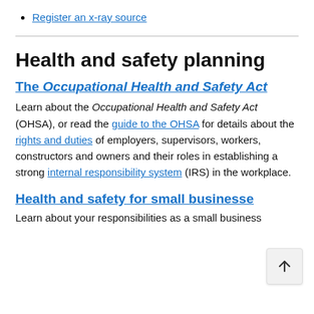Register an x-ray source
Health and safety planning
The Occupational Health and Safety Act
Learn about the Occupational Health and Safety Act (OHSA), or read the guide to the OHSA for details about the rights and duties of employers, supervisors, workers, constructors and owners and their roles in establishing a strong internal responsibility system (IRS) in the workplace.
Health and safety for small businesses
Learn about your responsibilities as a small business